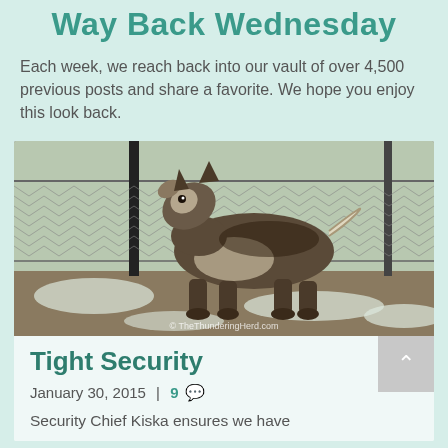Way Back Wednesday
Each week, we reach back into our vault of over 4,500 previous posts and share a favorite. We hope you enjoy this look back.
[Figure (photo): A husky dog howling or barking near a chain-link fence in a snowy yard. Watermark reads '© TheThunderingHerd.com']
Tight Security
January 30, 2015 | 9 comments
Security Chief Kiska ensures we have